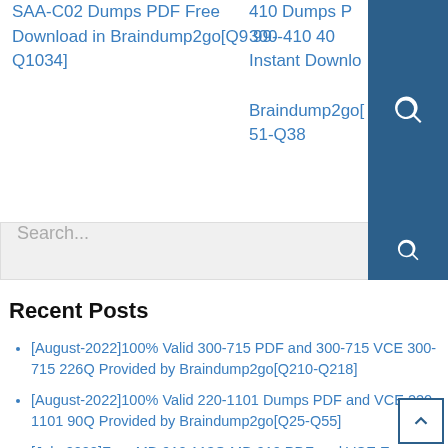SAA-C02 Dumps PDF Free Download in Braindump2go[Q999-Q1034]
410 Dumps PDF 300-410 40 Instant Download Braindump2go[ 51-Q38
Search...
Recent Posts
[August-2022]100% Valid 300-715 PDF and 300-715 VCE 300-715 226Q Provided by Braindump2go[Q210-Q218]
[August-2022]100% Valid 220-1101 Dumps PDF and VCE 220-1101 90Q Provided by Braindump2go[Q25-Q55]
[July-2022]Free MB-910 113Q MB-910 PDF and VCE Exam Dumps Braindump2go Offer[Q85-Q105]